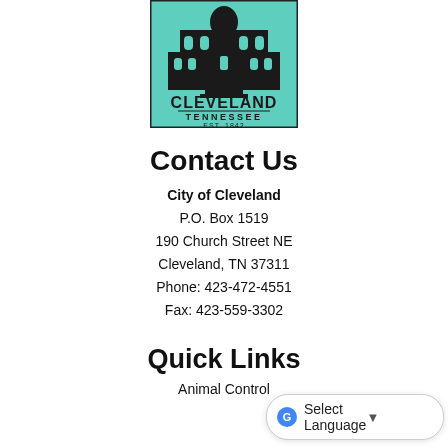[Figure (logo): City of Cleveland, Tennessee logo — teal/mint background with black building silhouette, 'CLEVELAND' in bold, 'TENNESSEE' below, 'EST. 1842' at bottom]
Contact Us
City of Cleveland
P.O. Box 1519
190 Church Street NE
Cleveland, TN 37311
Phone: 423-472-4551
Fax: 423-559-3302
Quick Links
Animal Control